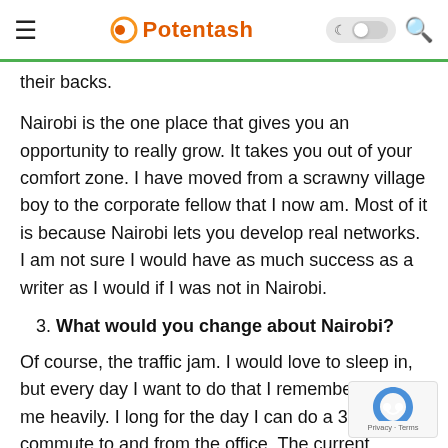Potentash
their backs.
Nairobi is the one place that gives you an opportunity to really grow. It takes you out of your comfort zone. I have moved from a scrawny village boy to the corporate fellow that I now am. Most of it is because Nairobi lets you develop real networks. I am not sure I would have as much success as a writer as I would if I was not in Nairobi.
3. What would you change about Nairobi?
Of course, the traffic jam. I would love to sleep in, but every day I want to do that I remember that it w me heavily. I long for the day I can do a 30-minu commute to and from the office. The current scenario is